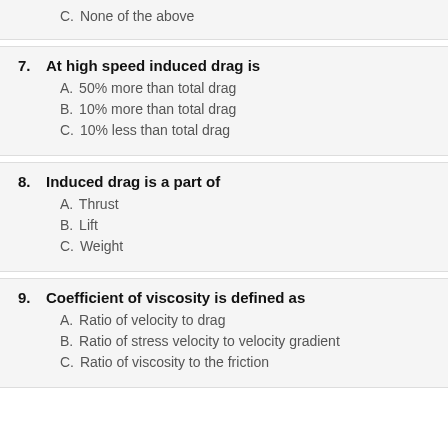C. None of the above
7. At high speed induced drag is
A. 50% more than total drag
B. 10% more than total drag
C. 10% less than total drag
8. Induced drag is a part of
A. Thrust
B. Lift
C. Weight
9. Coefficient of viscosity is defined as
A. Ratio of velocity to drag
B. Ratio of stress velocity to velocity gradient
C. Ratio of viscosity to the friction